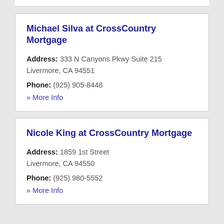Michael Silva at CrossCountry Mortgage
Address: 333 N Canyons Pkwy Suite 215 Livermore, CA 94551
Phone: (925) 905-8448
» More Info
Nicole King at CrossCountry Mortgage
Address: 1859 1st Street Livermore, CA 94550
Phone: (925) 980-5552
» More Info